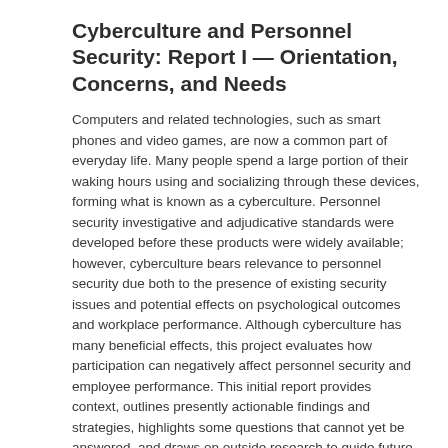Cyberculture and Personnel Security: Report I — Orientation, Concerns, and Needs
Computers and related technologies, such as smart phones and video games, are now a common part of everyday life. Many people spend a large portion of their waking hours using and socializing through these devices, forming what is known as a cyberculture. Personnel security investigative and adjudicative standards were developed before these products were widely available; however, cyberculture bears relevance to personnel security due both to the presence of existing security issues and potential effects on psychological outcomes and workplace performance. Although cyberculture has many beneficial effects, this project evaluates how participation can negatively affect personnel security and employee performance. This initial report provides context, outlines presently actionable findings and strategies, highlights some questions that cannot yet be answered, and draws on outside research to guide future research. Information from many sources was examined, including academic research journals, other federal organizations, news reports, and cyber environments, to understand cyber